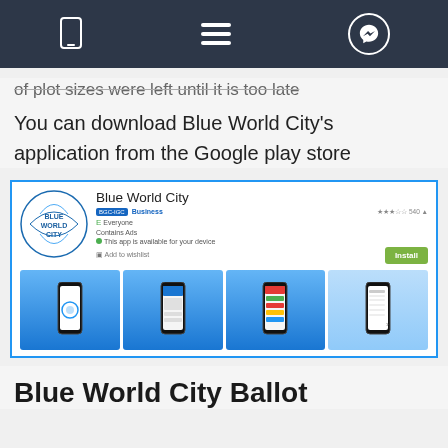[Navigation bar with phone, menu, and messenger icons]
of plot sizes were left until it is too late
You can download Blue World City's application from the Google play store
[Figure (screenshot): Google Play Store listing for Blue World City app showing logo, app title, rating, Install button, and four smartphone screenshots of the app]
Blue World City Ballot